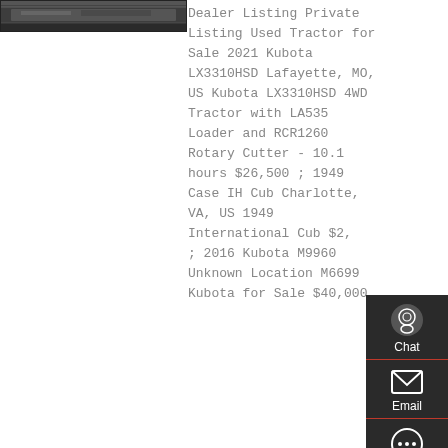[Figure (photo): Photograph of a tractor or farm equipment, dark/industrial image shown at top left of page]
Dealer Listing Private Listing Used Tractor for Sale 2021 Kubota LX3310HSD Lafayette, MO, US Kubota LX3310HSD 4WD Tractor with LA535 Loader and RCR1260 Rotary Cutter - 10.1 hours $26,500 ; 1949 Case IH Cub Charlotte, VA, US 1949 International Cub $2,999 ; 2016 Kubota M9960 Unknown Location M6699 Kubota for Sale $40,000
[Figure (infographic): Dark sidebar overlay with Chat, Email, Contact, and Top navigation icons]